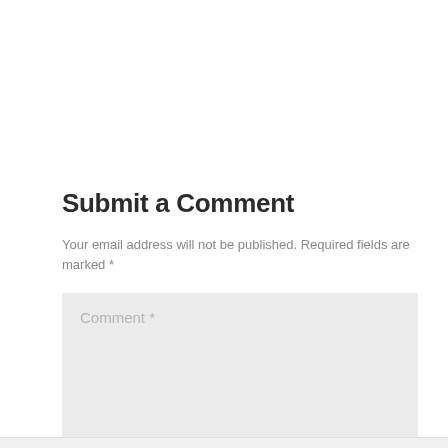Submit a Comment
Your email address will not be published. Required fields are marked *
[Figure (screenshot): Comment text area input box with placeholder text 'Comment *' and a resize handle in the bottom-right corner, displayed on a light gray background.]